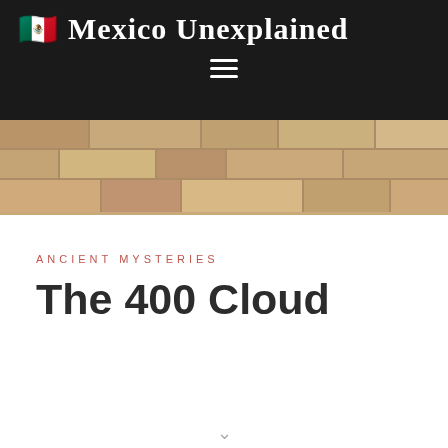🇲🇽 Mexico Unexplained
[Figure (photo): Stone wall texture — rows of stacked tan and beige cut stone blocks]
ANCIENT MYSTERIES
The 400 Cloud